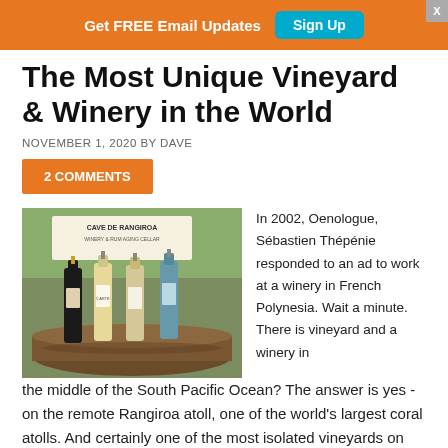Get FREE Email Updates  Sign Up
The Most Unique Vineyard & Winery in the World
NOVEMBER 1, 2020 BY DAVE
2 COMMENTS
[Figure (photo): Four wine bottles displayed on a wooden barrel surface, with a sign reading CAVE DE RANGIROA WINERY & RUM AGING CELLAR in the background]
In 2002, Oenologue, Sébastien Thépénie responded to an ad to work at a winery in French Polynesia. Wait a minute. There is vineyard and a winery in the middle of the South Pacific Ocean? The answer is yes - on the remote Rangiroa atoll, one of the world's largest coral atolls. And certainly one of the most isolated vineyards on the planet. Today Sébastien oversees the viticulture and